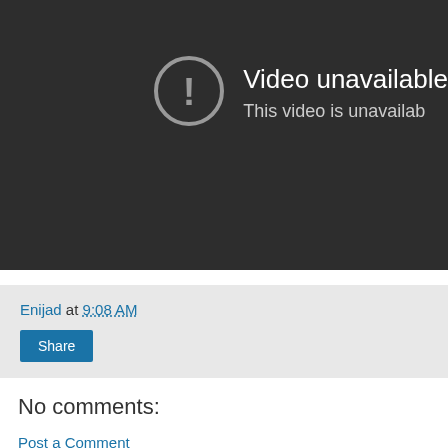[Figure (screenshot): YouTube video unavailable error screen with dark background, circle exclamation icon, and text 'Video unavailable / This video is unavailab...']
Enijad at 9:08 AM
Share
No comments:
Post a Comment